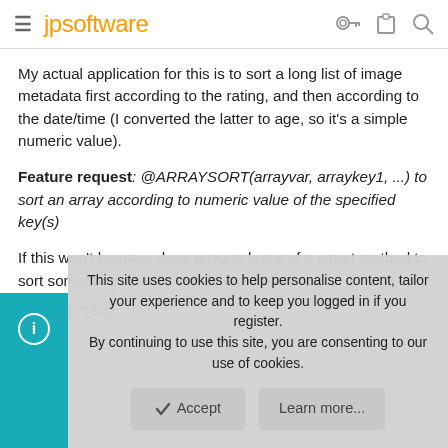jpsoftware
My actual application for this is to sort a long list of image metadata first according to the rating, and then according to the date/time (I converted the latter to age, so it's a simple numeric value).
Feature request: @ARRAYSORT(arrayvar, arraykey1, ...) to sort an array according to numeric value of the specified key(s)
If this won't happen, does anyone know of a smart method to sort something like this simple example array ...
array[0,0,01=2
This site uses cookies to help personalise content, tailor your experience and to keep you logged in if you register.
By continuing to use this site, you are consenting to our use of cookies.